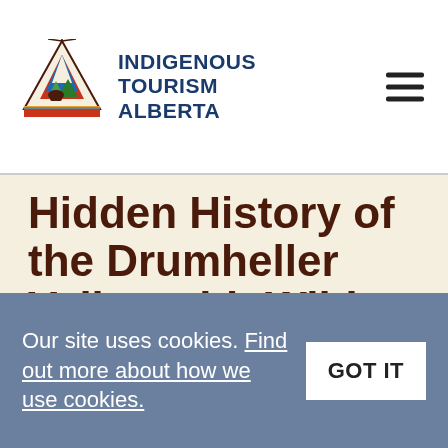Indigenous Tourism Alberta
Hidden History of the Drumheller Valley with Wild West Badlands Tours
I'm sitting in the back of a gigantic wagon surrounded by a herd of
Our site uses cookies. Find out more about how we use cookies. GOT IT